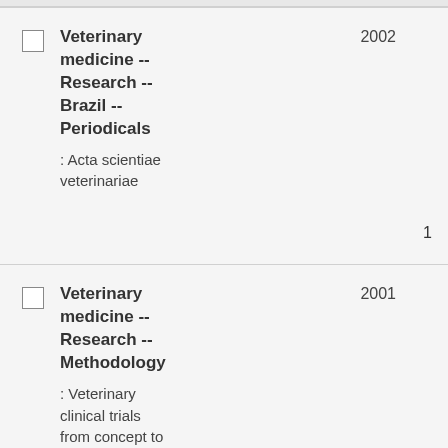Veterinary medicine -- Research -- Brazil -- Periodicals : Acta scientiae veterinariae 2002 1
Veterinary medicine -- Research -- Methodology : Veterinary clinical trials from concept to completion / Nigel Dent 2001 1